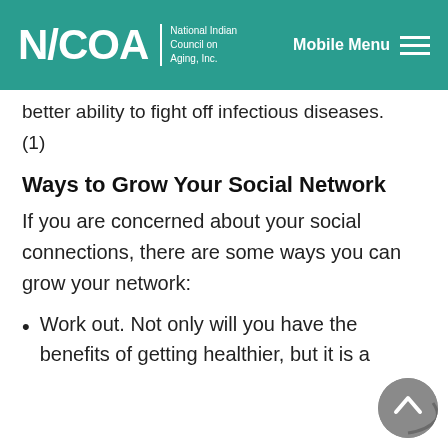NICOA National Indian Council on Aging, Inc. | Mobile Menu
better ability to fight off infectious diseases.
(1)
Ways to Grow Your Social Network
If you are concerned about your social connections, there are some ways you can grow your network:
Work out. Not only will you have the benefits of getting healthier, but it is a